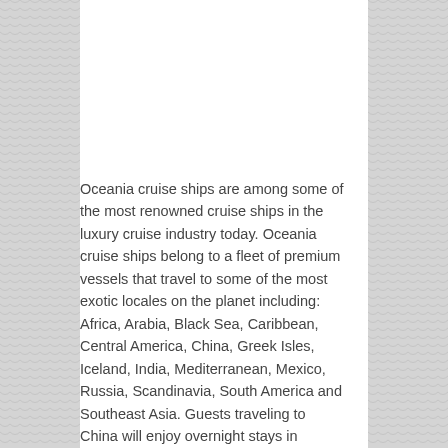Oceania cruise ships are among some of the most renowned cruise ships in the luxury cruise industry today. Oceania cruise ships belong to a fleet of premium vessels that travel to some of the most exotic locales on the planet including: Africa, Arabia, Black Sea, Caribbean, Central America, China, Greek Isles, Iceland, India, Mediterranean, Mexico, Russia, Scandinavia, South America and Southeast Asia. Guests traveling to China will enjoy overnight stays in amazing cities such as Beijing, Hong Kong,